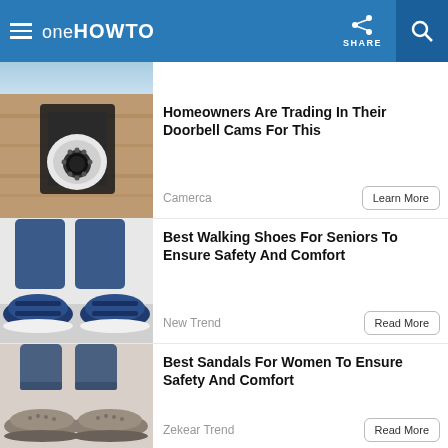oneHOWTO — SHARE
[Figure (screenshot): Partial top image cropped — blue and light tones]
Homeowners Are Trading In Their Doorbell Cams For This
Camerca
Learn More
[Figure (photo): Person wearing blue walking shoes/sneakers with straps, jeans, on light floor]
Best Walking Shoes For Seniors To Ensure Safety And Comfort
New Trend
Read More
[Figure (photo): Person wearing grey/beige flat sandals with jeans rolled up]
Best Sandals For Women To Ensure Safety And Comfort
Zekear Trend
Read More